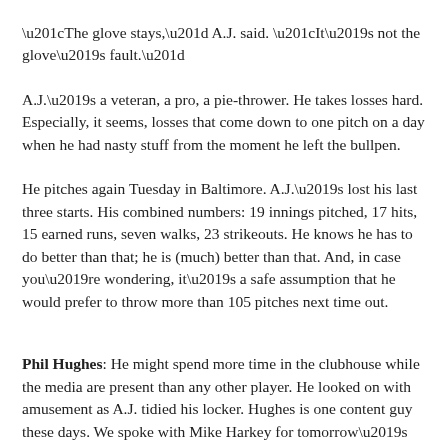“The glove stays,” A.J. said. “It’s not the glove’s fault.”
A.J.’s a veteran, a pro, a pie-thrower. He takes losses hard. Especially, it seems, losses that come down to one pitch on a day when he had nasty stuff from the moment he left the bullpen.
He pitches again Tuesday in Baltimore. A.J.’s lost his last three starts. His combined numbers: 19 innings pitched, 17 hits, 15 earned runs, seven walks, 23 strikeouts. He knows he has to do better than that; he is (much) better than that. And, in case you’re wondering, it’s a safe assumption that he would prefer to throw more than 105 pitches next time out.
Phil Hughes: He might spend more time in the clubhouse while the media are present than any other player. He looked on with amusement as A.J. tidied his locker. Hughes is one content guy these days. We spoke with Mike Harkey for tomorrow’s Innerview for “Batting Practice Today presented by Audi” and he marvels at the way Hughes has adjusted to the bullpen. And Harkey believes Hughes’ easygoing demeanor has played a